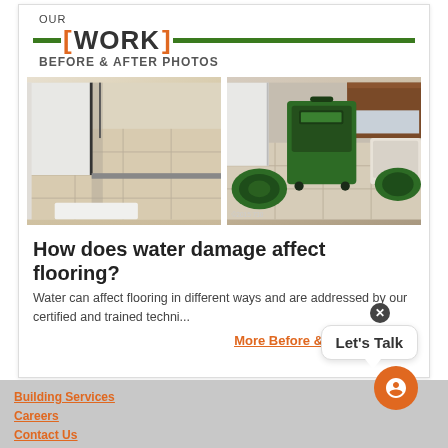OUR [WORK] BEFORE & AFTER PHOTOS
[Figure (photo): Before photo: bathroom tile floor with glass shower door]
[Figure (photo): After photo: bathroom with green water damage restoration equipment (dehumidifier and air movers) on tile floor]
How does water damage affect flooring?
Water can affect flooring in different ways and are addressed by our certified and trained techni...
More Before & After Photos »
Building Services
Careers
Contact Us
Let's Talk